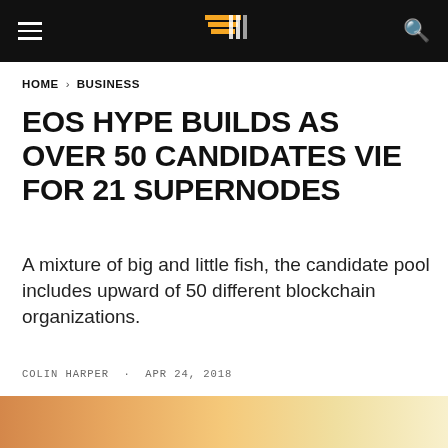HOME > BUSINESS
EOS HYPE BUILDS AS OVER 50 CANDIDATES VIE FOR 21 SUPERNODES
A mixture of big and little fish, the candidate pool includes upward of 50 different blockchain organizations.
COLIN HARPER · APR 24, 2018
[Figure (illustration): Social share icons: Facebook (f), Twitter bird, Reddit alien, LinkedIn (in)]
[Figure (photo): Partial photo at bottom of page, warm orange and yellow tones, out of focus background]